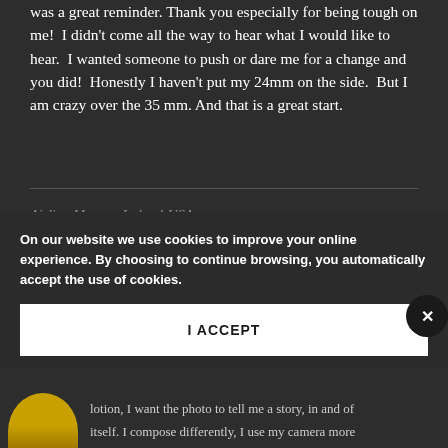was a great reminder. Thank you especially for being tough on me! I didn't come all the way to hear what I would like to hear. I wanted someone to push or dare me for a change and you did! Honestly I haven't put my 24mm on the side. But I am crazy over the 35 mm. And that is a great start.
Aisling Murray, Ireland-USA
My experience in Beirut, participating in a
On our website we use cookies to improve your online experience. By choosing to continue browsing, you automatically accept the use of cookies.
I ACCEPT
lotion, I want the photo to tell me a story, in and of itself. I compose differently, I use my camera more